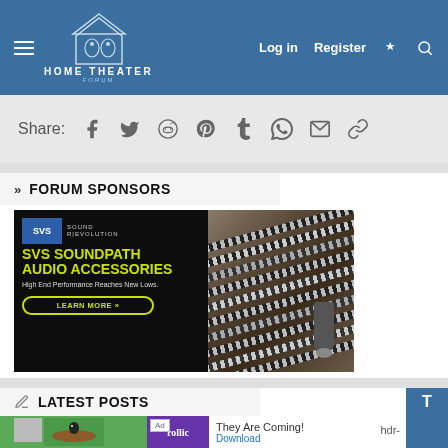HOME THEATER FORUM — Log in  Register
Share:
[Figure (screenshot): SVS SoundPath Audio Accessories advertisement banner showing braided audio cables on a dark background with LEARN MORE button]
» FORUM SPONSORS
✎ LATEST POSTS
[Figure (screenshot): Bottom advertisement strip showing Rollic game ad: They Are Coming! with Download link]